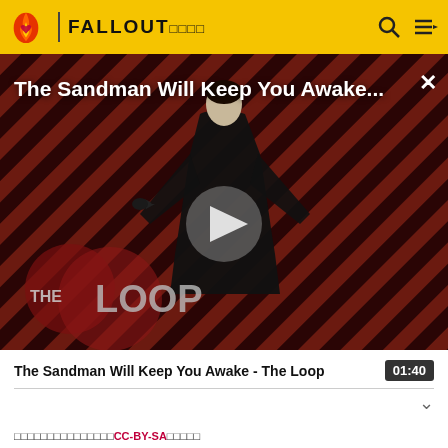FALLOUT□□□□
[Figure (screenshot): Video thumbnail showing a figure in black against a diagonal striped red and black background. THE LOOP watermark visible at bottom left. Large play button in center. Title overlay reads 'The Sandman Will Keep You Awake...' with a close X button top right.]
The Sandman Will Keep You Awake - The Loop  01:40
□□□□□□□□□□□□□□□CC-BY-SA□□□□□